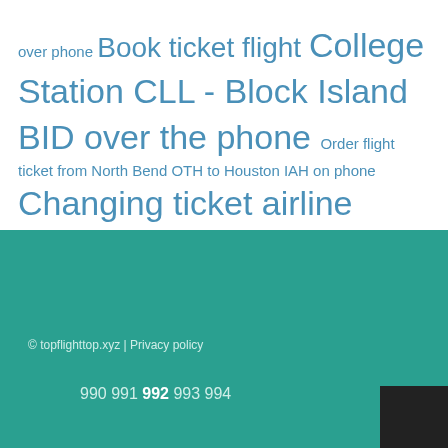over phone Book ticket flight College Station CLL - Block Island BID over the phone Order flight ticket from North Bend OTH to Houston IAH on phone Changing ticket airline Portsmouth PSM to Westerly WST by the call
© topflighttop.xyz | Privacy policy
990 991 992 993 994